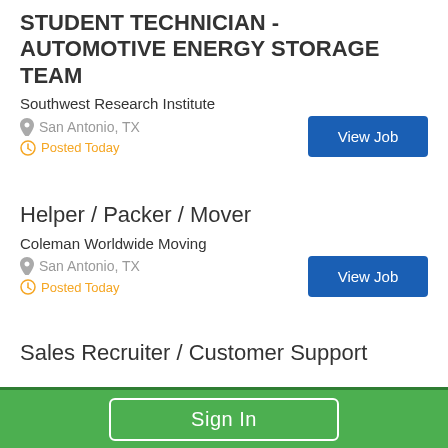STUDENT TECHNICIAN - AUTOMOTIVE ENERGY STORAGE TEAM
Southwest Research Institute
San Antonio, TX
Posted Today
View Job
Helper / Packer / Mover
Coleman Worldwide Moving
San Antonio, TX
Posted Today
View Job
Sales Recruiter / Customer Support
Sign In